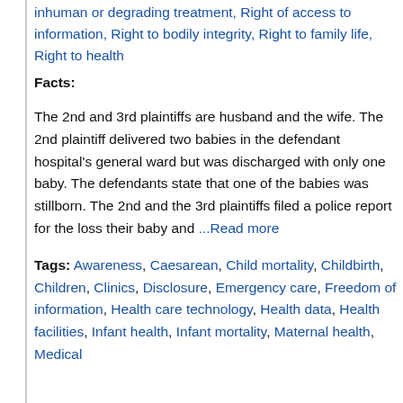inhuman or degrading treatment, Right of access to information, Right to bodily integrity, Right to family life, Right to health
Facts:
The 2nd and 3rd plaintiffs are husband and the wife. The 2nd plaintiff delivered two babies in the defendant hospital's general ward but was discharged with only one baby. The defendants state that one of the babies was stillborn. The 2nd and the 3rd plaintiffs filed a police report for the loss their baby and ...Read more
Tags: Awareness, Caesarean, Child mortality, Childbirth, Children, Clinics, Disclosure, Emergency care, Freedom of information, Health care technology, Health data, Health facilities, Infant health, Infant mortality, Maternal health, Medical...